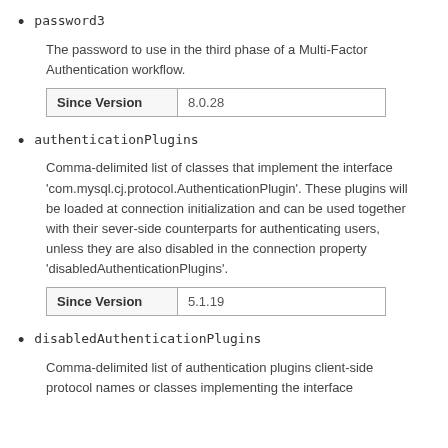password3
The password to use in the third phase of a Multi-Factor Authentication workflow.
| Since Version |  |
| --- | --- |
| Since Version | 8.0.28 |
authenticationPlugins
Comma-delimited list of classes that implement the interface 'com.mysql.cj.protocol.AuthenticationPlugin'. These plugins will be loaded at connection initialization and can be used together with their sever-side counterparts for authenticating users, unless they are also disabled in the connection property 'disabledAuthenticationPlugins'.
| Since Version |  |
| --- | --- |
| Since Version | 5.1.19 |
disabledAuthenticationPlugins
Comma-delimited list of authentication plugins client-side protocol names or classes implementing the interface